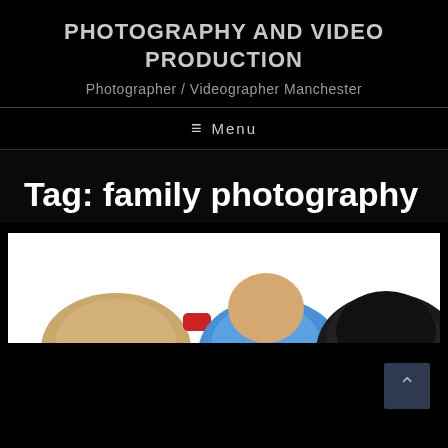PHOTOGRAPHY AND VIDEO PRODUCTION
Photographer / Videographer Manchester
☰ Menu
Tag: family photography
[Figure (photo): Partial view of children/people against a white background, showing tops of heads — a blonde child on the left, a child in blue clothing in the middle, and a dark-haired person on the right.]